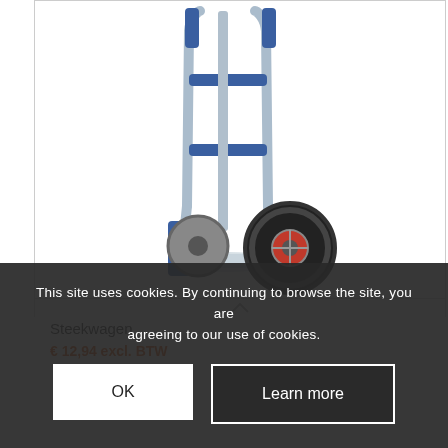[Figure (photo): A silver and blue two-wheeled sack truck / hand truck (Steekwagen) with pneumatic tyres, blue handles and foot plate, photographed on white background.]
Steekwagen
€ 12,94 excl. BTW
This site uses cookies. By continuing to browse the site, you are agreeing to our use of cookies.
OK
Learn more